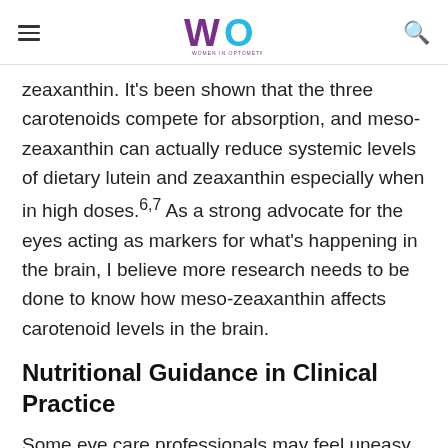Women In Optometry
zeaxanthin. It’s been shown that the three carotenoids compete for absorption, and meso-zeaxanthin can actually reduce systemic levels of dietary lutein and zeaxanthin especially when in high doses.6,7 As a strong advocate for the eyes acting as markers for what’s happening in the brain, I believe more research needs to be done to know how meso-zeaxanthin affects carotenoid levels in the brain.
Nutritional Guidance in Clinical Practice
Some eye care professionals may feel uneasy